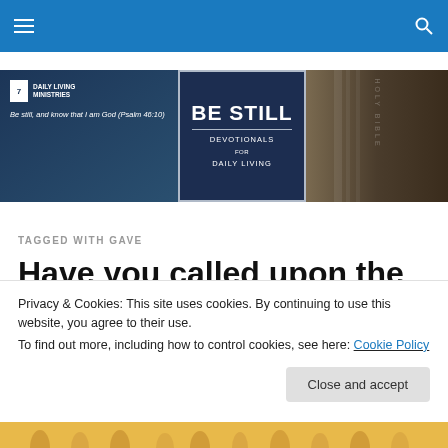Navigation bar with hamburger menu and search icon
[Figure (illustration): Daily Living Ministries banner with 'BE STILL DEVOTIONALS FOR DAILY LIVING' text overlay and Holy Bible spine on right side. Verse: 'Be still, and know that I am God (Psalm 46:10)']
TAGGED WITH GAVE
Have you called upon the name of the Lord?
Privacy & Cookies: This site uses cookies. By continuing to use this website, you agree to their use.
To find out more, including how to control cookies, see here: Cookie Policy
Close and accept
[Figure (photo): Yellow background with raised hands at the bottom of the page]